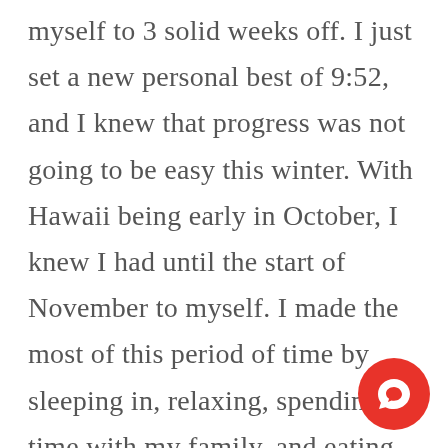myself to 3 solid weeks off. I just set a new personal best of 9:52, and I knew that progress was not going to be easy this winter. With Hawaii being early in October, I knew I had until the start of November to myself. I made the most of this period of time by sleeping in, relaxing, spending time with my family, and eating every single piece of Halloween candy I could find!

By the end of this three-week period, I had on almost 10 pounds and was not only wei...
[Figure (other): Red circular chat bubble / customer support button icon in the bottom-right corner]